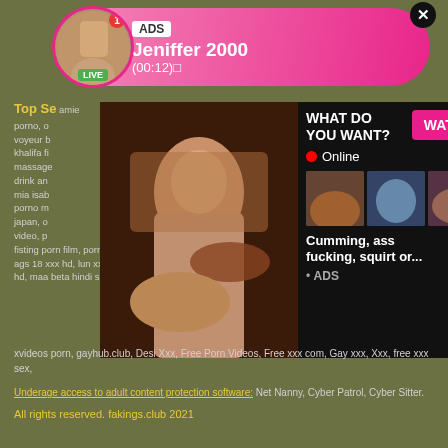[Figure (infographic): Ad banner with profile photo, LIVE badge, notification badge, ADS label, name Jeniffer 2000, time (00:12), close X button]
[Figure (infographic): Adult content popup overlay with video thumbnail, WHAT DO YOU WANT? text, WATCH button, Online indicator, three thumbnail images, Cumming, ass fucking, squirt or... text, ADS label, close X]
Top S... porno, o... voyeur b... khalifa fi... massage... drink an... mia isab... porno m... japan, o... video, p... fisting porn film, porn films with story, pussy fucking cock, mom and sun crazy sex mom ags 40 sun ags 18 xxx hd, lun xxx sex video, teachers sex vids, panty fuck tube, manipurni sex, bade se xxx hd, maa beta hindi sexy story,
xvideos porn, gayhub.club, Desi Xxx, Free Porn Videos, Free xxx com, Gay xxx, Xxx, free xxx sex,
Underage access to adult content protection software: Net Nanny, Cyber Patrol, Cyber Sitter.
All rights reserved. fakings.club 2021